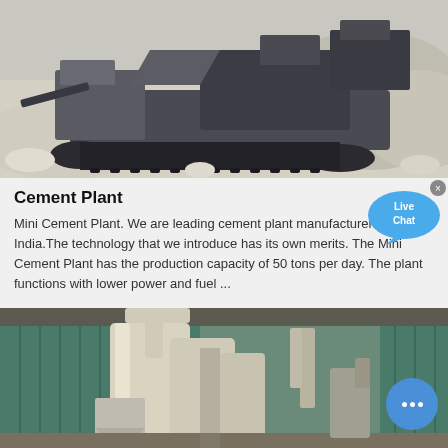[Figure (photo): Aerial/ground-level view of a large industrial mobile crusher machine operating on a rocky/quarry site with white rocky terrain and gray machinery]
Cement Plant
Mini Cement Plant. We are leading cement plant manufacturers from India.The technology that we introduce has its own merits. The Mini Cement Plant has the production capacity of 50 tons per day. The plant functions with lower power and fuel ...
[Figure (photo): Industrial cement plant interior showing large white cylindrical equipment, pipes, and dust collection machinery inside a warehouse with teal/green corrugated metal walls]